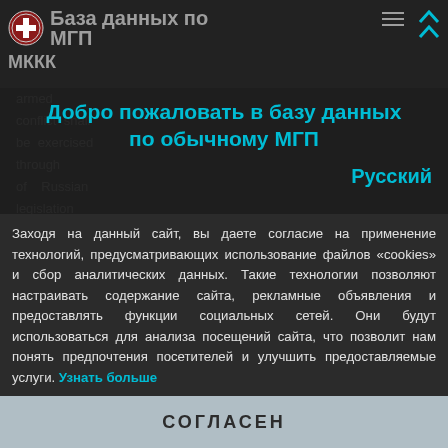База данных по МГП МККК
conflict shall be exercised of Russian legislation via investigation and
Добро пожаловать в базу данных по обычному МГП
Русский
Заходя на данный сайт, вы даете согласие на применение технологий, предусматривающих использование файлов «cookies» и сбор аналитических данных. Такие технологии позволяют настраивать содержание сайта, рекламные объявления и предоставлять функции социальных сетей. Они будут использоваться для анализа посещений сайта, что позволит нам понять предпочтения посетителей и улучшить предоставляемые услуги. Узнать больше
СОГЛАСЕН